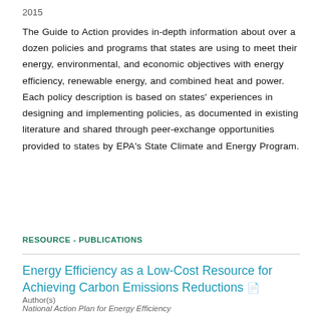2015
The Guide to Action provides in-depth information about over a dozen policies and programs that states are using to meet their energy, environmental, and economic objectives with energy efficiency, renewable energy, and combined heat and power. Each policy description is based on states' experiences in designing and implementing policies, as documented in existing literature and shared through peer-exchange opportunities provided to states by EPA's State Climate and Energy Program.
RESOURCE - PUBLICATIONS
Energy Efficiency as a Low-Cost Resource for Achieving Carbon Emissions Reductions
Author(s)
National Action Plan for Energy Efficiency
Publication Date